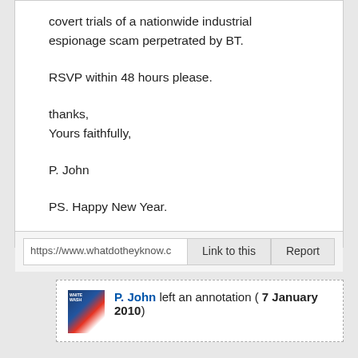covert trials of a nationwide industrial espionage scam perpetrated by BT.
RSVP within 48 hours please.
thanks,
Yours faithfully,
P. John
PS. Happy New Year.
https://www.whatdotheyknow.c...
Link to this
Report
P. John left an annotation ( 7 January 2010)